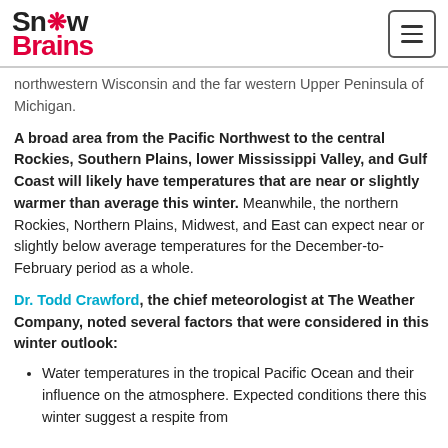SnowBrains
northwestern Wisconsin and the far western Upper Peninsula of Michigan.
A broad area from the Pacific Northwest to the central Rockies, Southern Plains, lower Mississippi Valley, and Gulf Coast will likely have temperatures that are near or slightly warmer than average this winter. Meanwhile, the northern Rockies, Northern Plains, Midwest, and East can expect near or slightly below average temperatures for the December-to-February period as a whole.
Dr. Todd Crawford, the chief meteorologist at The Weather Company, noted several factors that were considered in this winter outlook:
Water temperatures in the tropical Pacific Ocean and their influence on the atmosphere. Expected conditions there this winter suggest a respite from